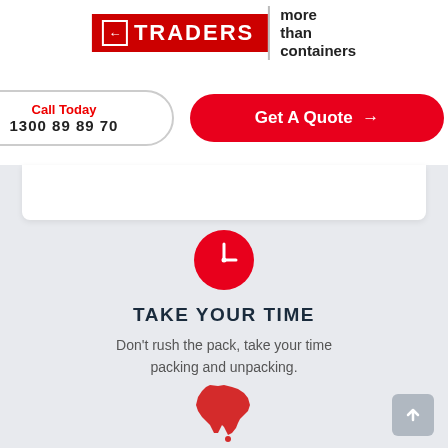[Figure (logo): Traders logo with red background and white arrow, beside 'more than containers' text]
Call Today
1300 89 89 70
Get A Quote →
[Figure (illustration): Red clock icon circle]
TAKE YOUR TIME
Don't rush the pack, take your time packing and unpacking.
[Figure (illustration): Red Australia map silhouette icon]
AUSTRALIA WIDE